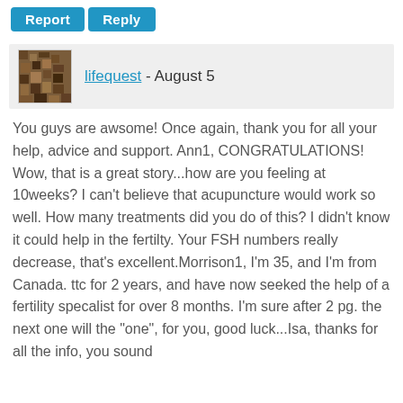[Figure (other): Two buttons: Report and Reply, blue rounded rectangles with white bold text]
[Figure (photo): Small avatar image showing a brown textured pattern (user profile picture for lifequest)]
lifequest - August 5
You guys are awsome! Once again, thank you for all your help, advice and support. Ann1, CONGRATULATIONS! Wow, that is a great story...how are you feeling at 10weeks? I can't believe that acupuncture would work so well. How many treatments did you do of this? I didn't know it could help in the fertilty. Your FSH numbers really decrease, that's excellent.Morrison1, I'm 35, and I'm from Canada. ttc for 2 years, and have now seeked the help of a fertility specalist for over 8 months. I'm sure after 2 pg. the next one will the "one", for you, good luck...Isa, thanks for all the info, you sound